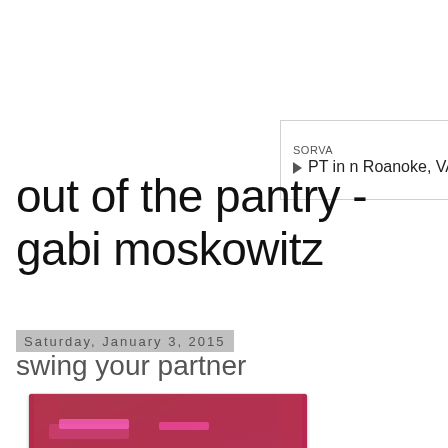[Figure (other): Mobile app advertisement banner for SORVA PT in Roanoke, VA with an OPEN button]
out of the pantry - gabi moskowitz
Saturday, January 3, 2015
swing your partner
[Figure (photo): Photo of two smiling people in a dimly lit venue with pink/red lighting and curtains in the background]